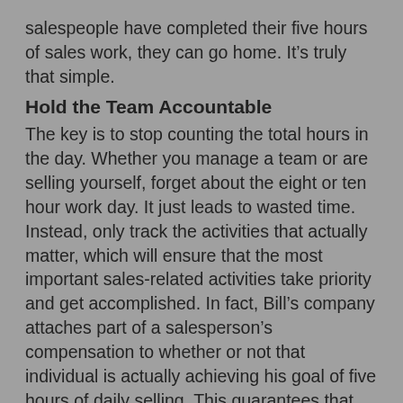salespeople have completed their five hours of sales work, they can go home. It’s truly that simple.
Hold the Team Accountable
The key is to stop counting the total hours in the day. Whether you manage a team or are selling yourself, forget about the eight or ten hour work day. It just leads to wasted time. Instead, only track the activities that actually matter, which will ensure that the most important sales-related activities take priority and get accomplished. In fact, Bill’s company attaches part of a salesperson’s compensation to whether or not that individual is actually achieving his goal of five hours of daily selling. This guarantees that appropriate output and high selling productivity are maintained. It also cultivates a healthy business culture, in which no one focuses on who is first to show up and last to leave the office. Instead, being hyper-efficient is what really matters. So, what are you waiting for? It’s time to design your own “Five Hour Sales Day.” Simply allot a time value to only your critical sales-related activities, and be sure that your daily activities add up to five hours.
And, don’t forget the best part. After you or your salespeople have achieved the five hour goal, feel free to head home